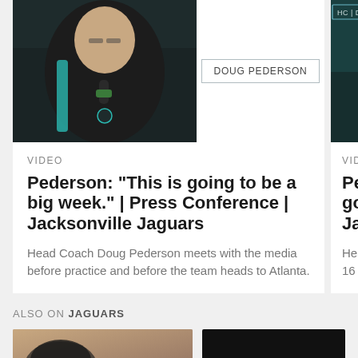[Figure (photo): Thumbnail of Head Coach Doug Pederson in Jacksonville Jaguars gear with 'DOUG PEDERSON' title card]
VIDEO
Pederson: "This is going to be a big week." | Press Conference | Jacksonville Jaguars
Head Coach Doug Pederson meets with the media before practice and before the team heads to Atlanta.
[Figure (photo): Thumbnail with 'HC | DOUG PEDERSON' title and Pet Paradise sponsor logo on teal/dark background]
VIDEO
Pederson are going Conferen Jaguars
Head Coach P after a 15-16 in Week 2 of t
ALSO ON JAGUARS
[Figure (photo): Small thumbnail - person in warm/brown tones]
[Figure (photo): Small thumbnail - dark/black background]